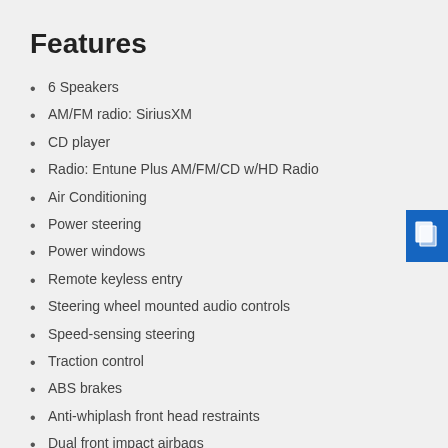Features
6 Speakers
AM/FM radio: SiriusXM
CD player
Radio: Entune Plus AM/FM/CD w/HD Radio
Air Conditioning
Power steering
Power windows
Remote keyless entry
Steering wheel mounted audio controls
Speed-sensing steering
Traction control
ABS brakes
Anti-whiplash front head restraints
Dual front impact airbags
Dual front side impact airbags
Front anti-roll bar
Front wheel independent suspension
Knee airbag